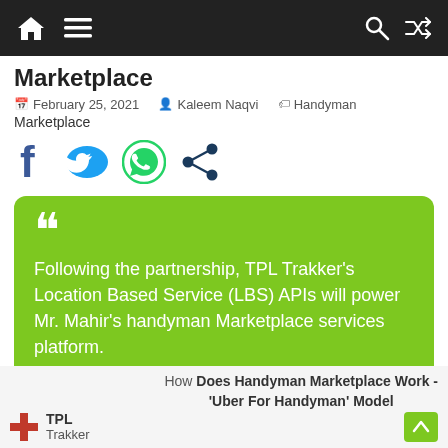Navigation bar with home, menu, search, and shuffle icons
Marketplace
February 25, 2021 · Kaleem Naqvi · Handyman Marketplace
[Figure (infographic): Social sharing icons: Facebook, Twitter, WhatsApp, and share icon]
"Following the partnership, TPL Trakker's Location Based Service (LBS) APIs will power Mr. Mahir's handyman Marketplace services platform."
[Figure (infographic): Bottom banner showing TPL Trakker and Mr. Mahir logos, and article thumbnail titled 'How Does Handyman Marketplace Work - Uber For Handyman Model']